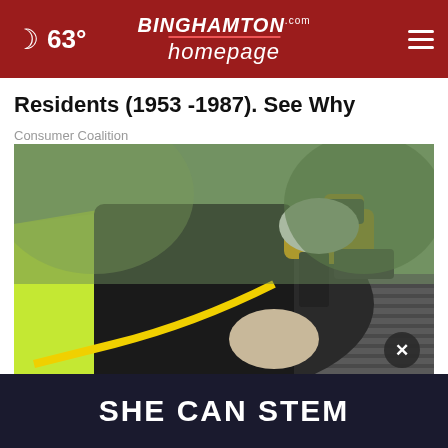63° | BINGHAMTON homepage.com
Residents (1953 -1987). See Why
Consumer Coalition
[Figure (photo): Worker in yellow hi-vis vest using a pneumatic nail gun on roof shingles]
Sne...  The...
[Figure (infographic): Dark advertisement banner reading: SHE CAN STEM]